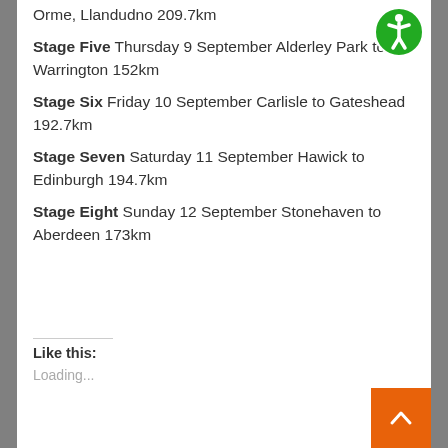Orme, Llandudno 209.7km
Stage Five Thursday 9 September Alderley Park to Warrington 152km
Stage Six Friday 10 September Carlisle to Gateshead 192.7km
Stage Seven Saturday 11 September Hawick to Edinburgh 194.7km
Stage Eight Sunday 12 September Stonehaven to Aberdeen 173km
Like this:
Loading...